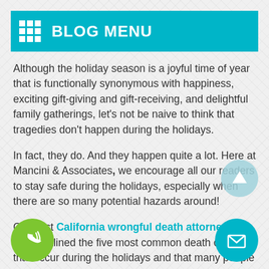BLOG MENU
Although the holiday season is a joyful time of year that is functionally synonymous with happiness, exciting gift-giving and gift-receiving, and delightful family gatherings, let’s not be naive to think that tragedies don’t happen during the holidays.
In fact, they do. And they happen quite a lot. Here at Mancini & Associates, we encourage all our readers to stay safe during the holidays, especially when there are so many potential hazards around!
Our best California wrongful death attorneys have outlined the five most common death causes that occur during the holidays and that many people may not be aware of.